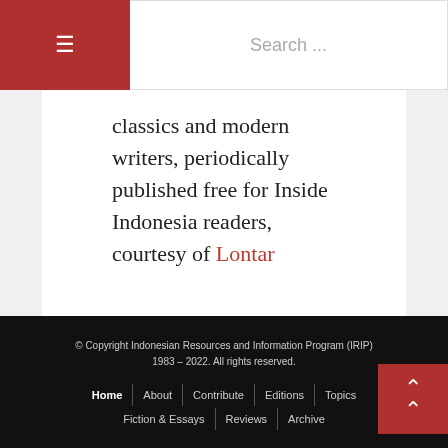☰  Search ...
classics and modern writers, periodically published free for Inside Indonesia readers, courtesy of Lontar
© Copyright Indonesian Resources and Information Program (IRIP) 1983 – 2022. All rights reserved.
Home | About | Contribute | Editions | Topics | Fiction & Essays | Reviews | Archive